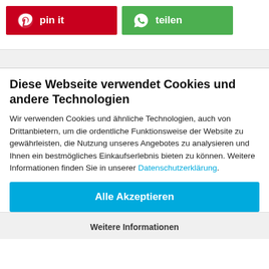[Figure (other): Two social sharing buttons: Pinterest 'pin it' (red background with Pinterest logo) and WhatsApp 'teilen' (green background with WhatsApp logo)]
Diese Webseite verwendet Cookies und andere Technologien
Wir verwenden Cookies und ähnliche Technologien, auch von Drittanbietern, um die ordentliche Funktionsweise der Website zu gewährleisten, die Nutzung unseres Angebotes zu analysieren und Ihnen ein bestmögliches Einkaufserlebnis bieten zu können. Weitere Informationen finden Sie in unserer Datenschutzerklärung.
Alle Akzeptieren
Weitere Informationen